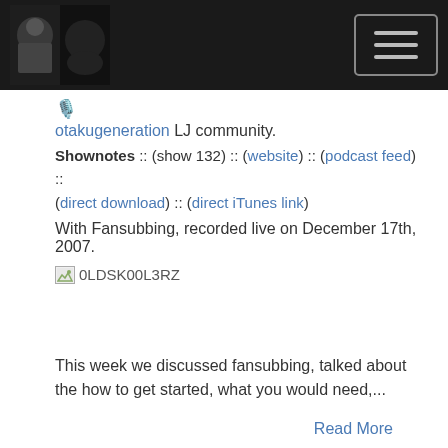[Figure (screenshot): Website header with dark background, logo image on left showing OtakuGeneration branding, and hamburger menu button on right]
🎙️
otakugeneration LJ community.
Shownotes :: (show 132) :: (website) :: (podcast feed) :: (direct download) :: (direct iTunes link)
With Fansubbing, recorded live on December 17th, 2007.
[Figure (illustration): Broken image placeholder showing text 0LDSK00L3RZ]
This week we discussed fansubbing, talked about the how to get started, what you would need,...
Read More